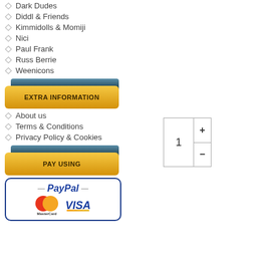Dark Dudes
Diddl & Friends
Kimmidolls & Momiji
Nici
Paul Frank
Russ Berrie
Weenicons
[Figure (other): Golden button labeled EXTRA INFORMATION with teal tab on top]
[Figure (other): Quantity selector box showing 1 with + and - buttons]
About us
Terms & Conditions
Privacy Policy & Cookies
[Figure (other): Golden button labeled PAY USING with teal tab on top]
[Figure (other): PayPal payment box with MasterCard and VISA logos]